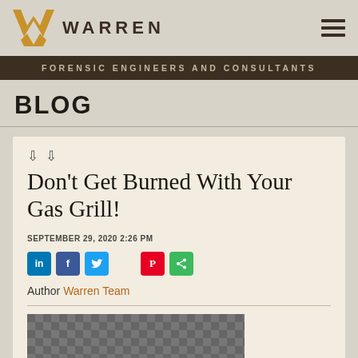WARREN — Forensic Engineers and Consultants
BLOG
Don't Get Burned With Your Gas Grill!
SEPTEMBER 29, 2020 2:26 PM
Author Warren Team
[Figure (photo): Grayscale thumbnail photo at bottom of card]